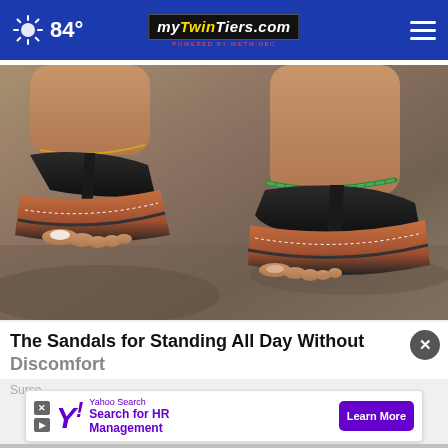84° myTwinTiers.com
[Figure (photo): Close-up photo of a woman's feet wearing black platform flip-flop sandals with ankle bracelets, standing on stone or rock surface.]
The Sandals for Standing All Day Without Discomfort
Surse
[Figure (infographic): Yahoo Search advertisement banner: 'Search for HR Management' with 'Learn More' button in purple.]